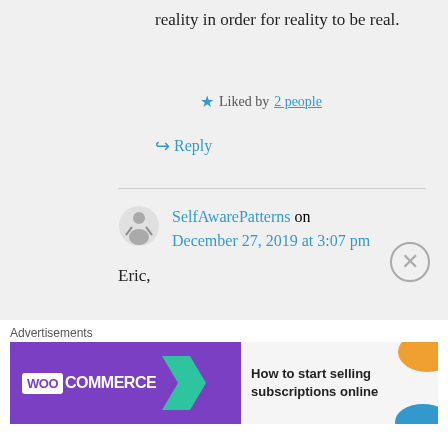reality in order for reality to be real.
★ Liked by 2 people
↪ Reply
SelfAwarePatterns on December 27, 2019 at 3:07 pm
Eric,
In truth, I think our intuitions are modifiable over time. People can get used to powerfully counter-intuitive
Advertisements
[Figure (other): WooCommerce advertisement banner: 'How to start selling subscriptions online']